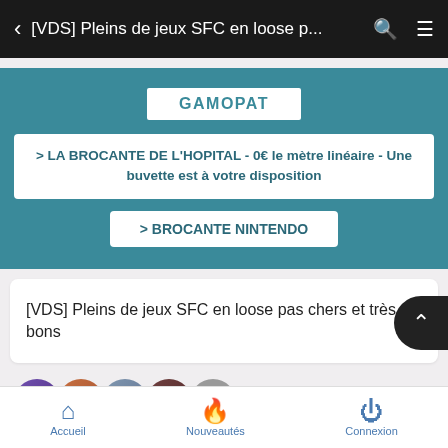< [VDS] Pleins de jeux SFC en loose p...
GAMOPAT
> LA BROCANTE DE L'HOPITAL - 0€ le mètre linéaire - Une buvette est à votre disposition
> BROCANTE NINTENDO
[VDS] Pleins de jeux SFC en loose pas chers et très bons
11 participants
Accueil   Nouveautés   Connexion